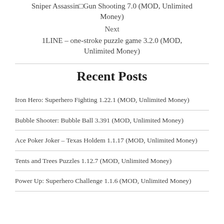Sniper Assassin□Gun Shooting 7.0 (MOD, Unlimited Money)
Next
1LINE – one-stroke puzzle game 3.2.0 (MOD, Unlimited Money)
Recent Posts
Iron Hero: Superhero Fighting 1.22.1 (MOD, Unlimited Money)
Bubble Shooter: Bubble Ball 3.391 (MOD, Unlimited Money)
Ace Poker Joker – Texas Holdem 1.1.17 (MOD, Unlimited Money)
Tents and Trees Puzzles 1.12.7 (MOD, Unlimited Money)
Power Up: Superhero Challenge 1.1.6 (MOD, Unlimited Money)